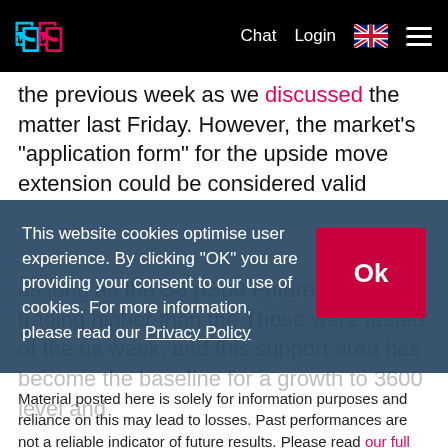Chat  Login  [UK flag]  [menu]
the previous week as we discussed the matter last Friday. However, the market's "application form" for the upside move extension could be considered valid as long as the S8 pS00 Futures are trading higher than the Those were tested of the us week, and this support area has become the baseline for a growth to 3600 level and
This website cookies optimise user experience. By clicking "OK" you are providing your consent to our use of cookies. For more information, please read our Privacy Policy
Material posted here is solely for information purposes and reliance on this may lead to losses. Past performances are not a reliable indicator of future results. Please read our full disclaimer.
CFDs are complex instruments and come with a high risk of losing money rapidly due to leverage. 76.41% of retail investor accounts lose money when trading CFDs with this provider. You should consider whether you understand how CFDs work and whether you can afford to take the high risk of losing your money.